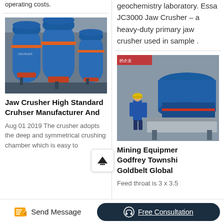operating costs.
geochemistry laboratory. Essa JC3000 Jaw Crusher – a heavy-duty primary jaw crusher used in sample .
[Figure (photo): Blue and orange industrial cone/vertical shaft crusher machines in a factory setting]
Jaw Crusher High Standard Cruhser Manufacturer And
Aug 01 2019 The crusher adopts the deep and symmetrical crushing chamber which is easy to
[Figure (photo): Worker in blue coveralls and yellow hard hat standing next to large blue mining/crushing equipment in a factory]
Mining Equipment Godfrey Township Goldbelt Global
Feed throat is 3 x 3.5
Send Message
Free Consultation